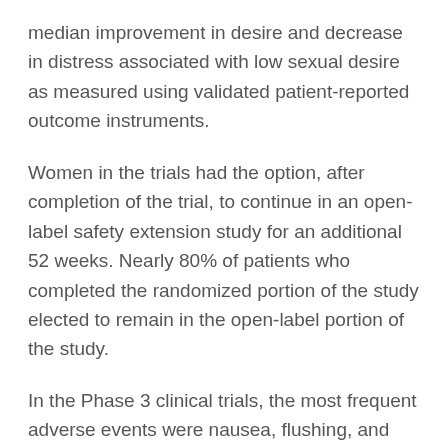median improvement in desire and decrease in distress associated with low sexual desire as measured using validated patient-reported outcome instruments.
Women in the trials had the option, after completion of the trial, to continue in an open-label safety extension study for an additional 52 weeks. Nearly 80% of patients who completed the randomized portion of the study elected to remain in the open-label portion of the study.
In the Phase 3 clinical trials, the most frequent adverse events were nausea, flushing, and headache, which were generally mild-to-moderate in intensity and transient.
About AMAG